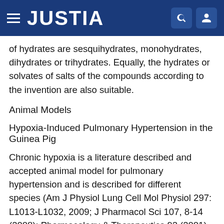JUSTIA
of hydrates are sesquihydrates, monohydrates, dihydrates or trihydrates. Equally, the hydrates or solvates of salts of the compounds according to the invention are also suitable.
Animal Models
Hypoxia-Induced Pulmonary Hypertension in the Guinea Pig
Chronic hypoxia is a literature described and accepted animal model for pulmonary hypertension and is described for different species (Am J Physiol Lung Cell Mol Physiol 297: L1013-L1032, 2009; J Pharmacol Sci 107, 8-14 (2008); Pharmacology & Therapeutics 92 (2001) 1-20). Acute hypoxia increases pulmonary arterial pressure through pulmonary arterial constriction. Chronic hypoxia causes more severe pulmonary